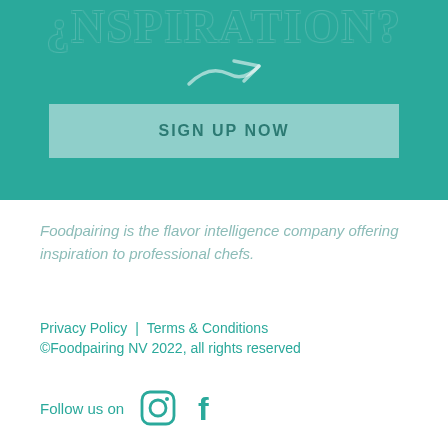¿NSPIRATION?
[Figure (illustration): Decorative arrow/scissors icon in teal section]
SIGN UP NOW
Foodpairing is the flavor intelligence company offering inspiration to professional chefs.
Privacy Policy    Terms & Conditions
©Foodpairing NV 2022, all rights reserved
Follow us on
[Figure (illustration): Instagram and Facebook social media icons]